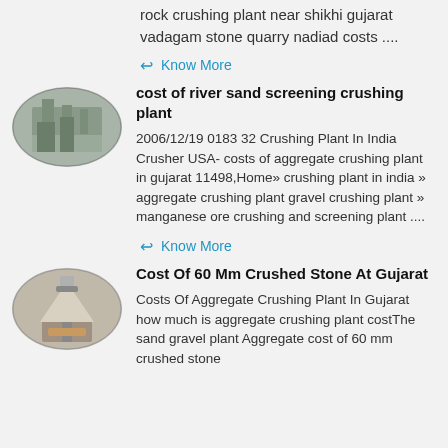rock crushing plant near shikhi gujarat vadagam stone quarry nadiad costs ....
Know More
[Figure (photo): Oval thumbnail photo of an industrial sand/aggregate screening plant building]
cost of river sand screening crushing plant
2006/12/19 0183 32 Crushing Plant In India Crusher USA- costs of aggregate crushing plant in gujarat 11498,Home» crushing plant in india » aggregate crushing plant gravel crushing plant » manganese ore crushing and screening plant ....
Know More
[Figure (photo): Oval thumbnail photo of a large cone crusher machine at a quarry site]
Cost Of 60 Mm Crushed Stone At Gujarat
Costs Of Aggregate Crushing Plant In Gujarat how much is aggregate crushing plant costThe sand gravel plant Aggregate cost of 60 mm crushed stone